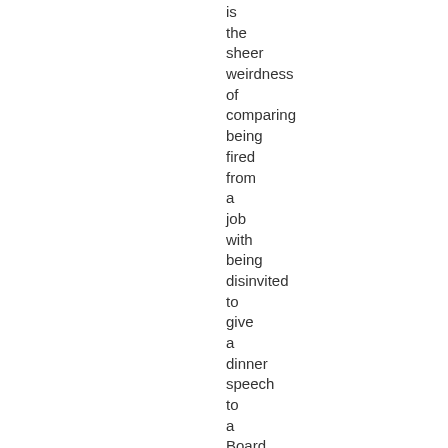is the sheer weirdness of comparing being fired from a job with being disinvited to give a dinner speech to a Board of Regents. (Even a commenter remarked on this: " [Y]ou